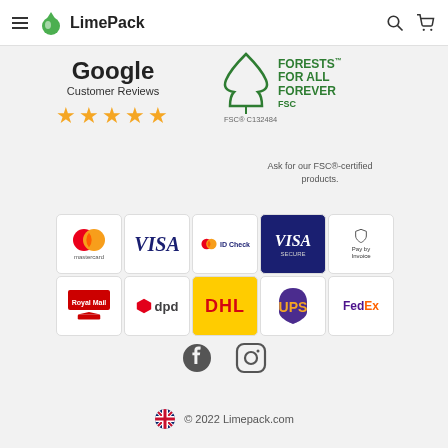LimePack
[Figure (logo): Google Customer Reviews badge with 5 orange stars]
[Figure (logo): FSC Forests For All Forever certification badge with tree logo, FSC C132484]
Ask for our FSC®-certified products.
[Figure (logo): Payment and delivery logos: Mastercard, VISA, Mastercard ID Check, VISA Secure, Pay by Invoice, Royal Mail, DPD, DHL, UPS, FedEx]
[Figure (logo): Facebook and Instagram social media icons]
© 2022 Limepack.com